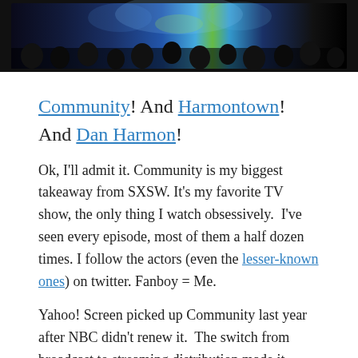[Figure (photo): A dark photo of an audience at an event, with a brightly lit stage in the background featuring blue and green lights.]
Community! And Harmontown! And Dan Harmon!
Ok, I'll admit it. Community is my biggest takeaway from SXSW. It's my favorite TV show, the only thing I watch obsessively. I've seen every episode, most of them a half dozen times. I follow the actors (even the lesser-known ones) on twitter. Fanboy = Me.
Yahoo! Screen picked up Community last year after NBC didn't renew it. The switch from broadcast to streaming distribution made it